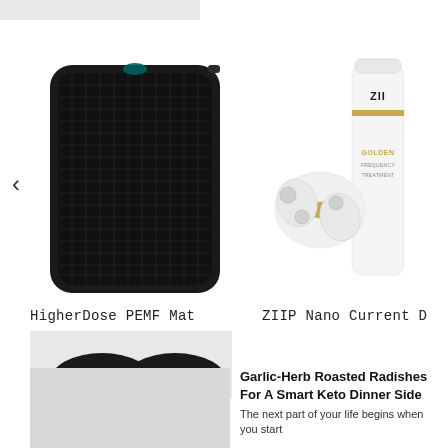[Figure (photo): HigherDose PEMF Mat product photo - black rectangular mat with grid texture]
HigherDose PEMF Mat
[Figure (photo): ZIIP Nano Current Device - white device with gold accents next to a white bottle labeled ZIIP GOLDEN FREQUENCY TREATMENT]
ZIIP Nano Current D
[Figure (photo): Partial bottom image showing dark rounded shapes on light background]
[Figure (photo): Article thumbnail image placeholder]
Garlic-Herb Roasted Radishes For A Smart Keto Dinner Side
The next part of your life begins when you start